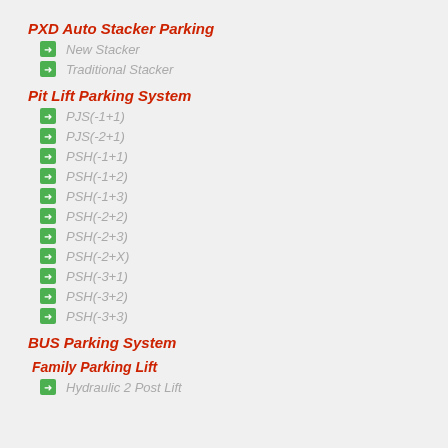PXD Auto Stacker Parking
New Stacker
Traditional Stacker
Pit Lift Parking System
PJS(-1+1)
PJS(-2+1)
PSH(-1+1)
PSH(-1+2)
PSH(-1+3)
PSH(-2+2)
PSH(-2+3)
PSH(-2+X)
PSH(-3+1)
PSH(-3+2)
PSH(-3+3)
BUS Parking System
Family Parking Lift
Hydraulic 2 Post Lift